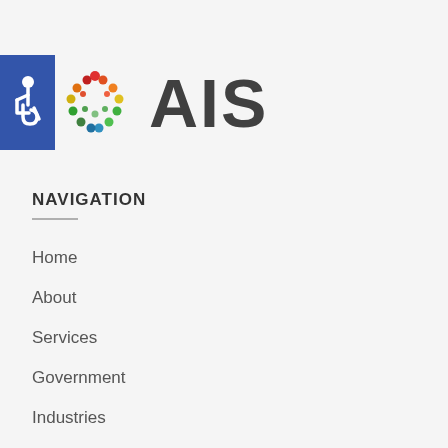[Figure (logo): AIS company logo with accessibility icon (blue square with wheelchair symbol), colorful globe/cluster icon, and large 'AIS' text]
NAVIGATION
Home
About
Services
Government
Industries
Areas We Serve
Contact